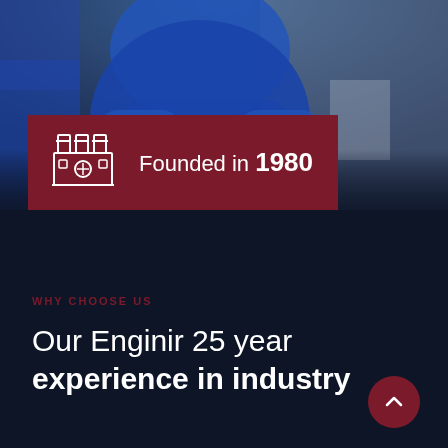[Figure (photo): A person in a blue work shirt/uniform with arms crossed, photographed in an industrial/workshop environment. The image is blurred in background.]
Founded in 1980
WHY CHOOSE US
Our Enginir 25 year experience in industry